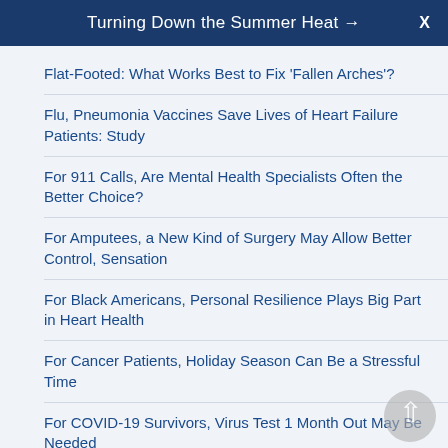Turning Down the Summer Heat → X
Flat-Footed: What Works Best to Fix 'Fallen Arches'?
Flu, Pneumonia Vaccines Save Lives of Heart Failure Patients: Study
For 911 Calls, Are Mental Health Specialists Often the Better Choice?
For Amputees, a New Kind of Surgery May Allow Better Control, Sensation
For Black Americans, Personal Resilience Plays Big Part in Heart Health
For Cancer Patients, Holiday Season Can Be a Stressful Time
For COVID-19 Survivors, Virus Test 1 Month Out May Be Needed
For Kids Who Hit Puberty Early, Risk of Self-Harm